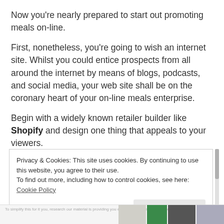Now you're nearly prepared to start out promoting meals on-line.
First, nonetheless, you're going to wish an internet site. Whilst you could entice prospects from all around the internet by means of blogs, podcasts, and social media, your web site shall be on the coronary heart of your on-line meals enterprise.
Begin with a widely known retailer builder like Shopify and design one thing that appeals to your viewers.
Privacy & Cookies: This site uses cookies. By continuing to use this website, you agree to their use.
To find out more, including how to control cookies, see here: Cookie Policy
Close and accept